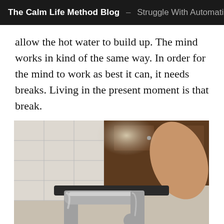The Calm Life Method Blog — Struggle With Automatic N
allow the hot water to build up. The mind works in kind of the same way. In order for the mind to work as best it can, it needs breaks. Living in the present moment is that break.
[Figure (photo): A person's hand turning a chrome kitchen faucet with water running, viewed from close up, with white tiles and dark wooden cabinets in the background.]